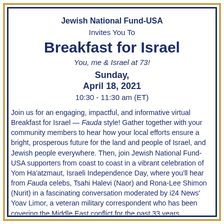Jewish National Fund-USA
Invites You To
Breakfast for Israel
You, me & Israel at 73!
Sunday,
April 18, 2021
10:30 - 11:30 am (ET)
Join us for an engaging, impactful, and informative virtual Breakfast for Israel — Fauda style! Gather together with your community members to hear how your local efforts ensure a bright, prosperous future for the land and people of Israel, and Jewish people everywhere. Then, join Jewish National Fund-USA supporters from coast to coast in a vibrant celebration of Yom Ha'atzmaut, Israeli Independence Day, where you'll hear from Fauda celebs, Tsahi Halevi (Naor) and Rona-Lee Shimon (Nurit) in a fascinating conversation moderated by i24 News' Yoav Limor, a veteran military correspondent who has been covering the Middle East conflict for the past 33 years.